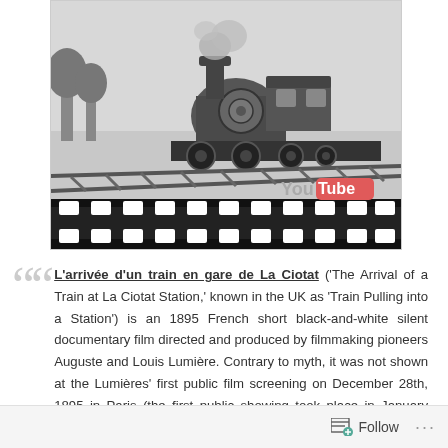[Figure (illustration): Black-and-white sketch illustration of an old steam train approaching on railway tracks, shown within a film strip border with sprocket holes at the bottom. A YouTube logo watermark appears in the lower right corner.]
L'arrivée d'un train en gare de La Ciotat ('The Arrival of a Train at La Ciotat Station,' known in the UK as 'Train Pulling into a Station') is an 1895 French short black-and-white silent documentary film directed and produced by filmmaking pioneers Auguste and Louis Lumière. Contrary to myth, it was not shown at the Lumières' first public film screening on December 28th, 1895 in Paris (the first public showing took place in January 1896). The train moving directly towards
Follow ···